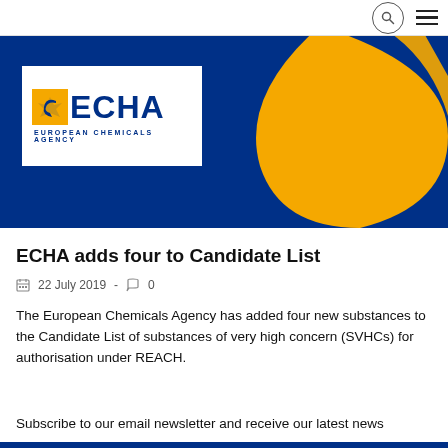ECHA navigation header with search and menu icons
[Figure (logo): ECHA European Chemicals Agency logo on blue background with yellow geometric shapes]
ECHA adds four to Candidate List
22 July 2019 · 0
The European Chemicals Agency has added four new substances to the Candidate List of substances of very high concern (SVHCs) for authorisation under REACH.
Subscribe to our email newsletter and receive our latest news